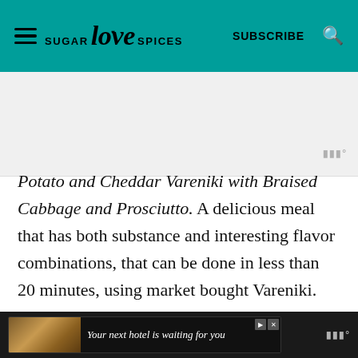SUGAR love SPICES | SUBSCRIBE
[Figure (other): Advertisement placeholder area (gray background)]
Potato and Cheddar Vareniki with Braised Cabbage and Prosciutto. A delicious meal that has both substance and interesting flavor combinations, that can be done in less than 20 minutes, using market bought Vareniki.
Your next hotel is waiting for you [advertisement]